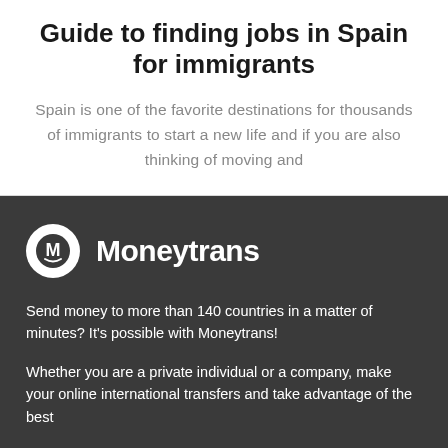Guide to finding jobs in Spain for immigrants
Spain is one of the favorite destinations for thousands of immigrants to start a new life and if you are also thinking of moving and
[Figure (logo): Moneytrans logo: white circle with stylized M letter and smile, next to bold white text 'Moneytrans' on dark background]
Send money to more than 140 countries in a matter of minutes? It's possible with Moneytrans!
Whether you are a private individual or a company, make your online international transfers and take advantage of the best